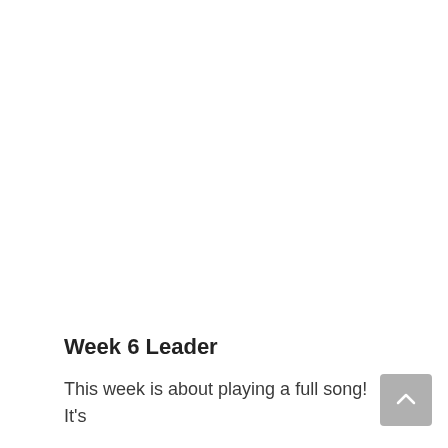Week 6 Leader
This week is about playing a full song!  It's